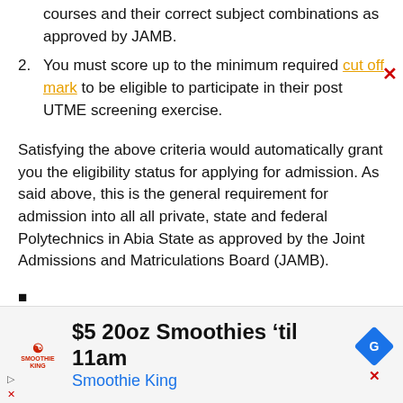courses and their correct subject combinations as approved by JAMB.
You must score up to the minimum required cut off mark to be eligible to participate in their post UTME screening exercise.
Satisfying the above criteria would automatically grant you the eligibility status for applying for admission. As said above, this is the general requirement for admission into all all private, state and federal Polytechnics in Abia State as approved by the Joint Admissions and Matriculations Board (JAMB).
[Figure (other): Advertisement banner for Smoothie King: '$5 20oz Smoothies til 11am' with Smoothie King logo and Google Ads diamond icon]